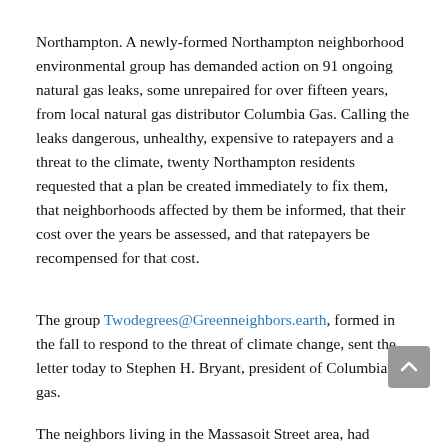Northampton. A newly-formed Northampton neighborhood environmental group has demanded action on 91 ongoing natural gas leaks, some unrepaired for over fifteen years, from local natural gas distributor Columbia Gas. Calling the leaks dangerous, unhealthy, expensive to ratepayers and a threat to the climate, twenty Northampton residents requested that a plan be created immediately to fix them, that neighborhoods affected by them be informed, that their cost over the years be assessed, and that ratepayers be recompensed for that cost.
The group Twodegrees@Greenneighbors.earth, formed in the fall to respond to the threat of climate change, sent the letter today to Stephen H. Bryant, president of Columbia gas.
The neighbors living in the Massasoit Street area, had gathered to plan local actions to limit greenhouse gas emissions that cause climate change. The year 2015 was the hottest on record, spurring